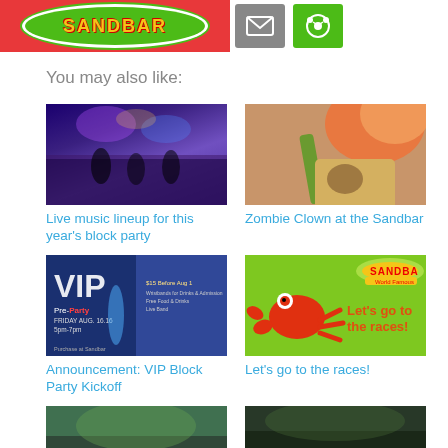[Figure (logo): Sandbar logo on red/green background with email and star social sharing icons]
You may also like:
[Figure (photo): Live music band performing on stage under blue/purple lights]
Live music lineup for this year's block party
[Figure (photo): Close-up of person with orange/pink hair and tattoo, yellow tank top]
Zombie Clown at the Sandbar
[Figure (photo): VIP Block Party Pre-Party announcement flyer with blue drinks]
Announcement: VIP Block Party Kickoff
[Figure (illustration): Green background with cartoon red crab and Sandbar logo, text Let's go to the races!]
Let's go to the races!
[Figure (photo): Outdoor photo bottom left]
[Figure (photo): Outdoor/night photo bottom right]